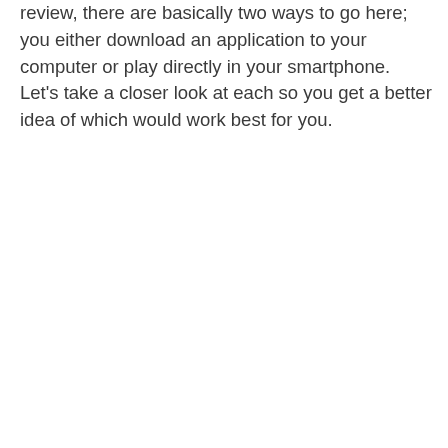review, there are basically two ways to go here; you either download an application to your computer or play directly in your smartphone. Let's take a closer look at each so you get a better idea of which would work best for you.